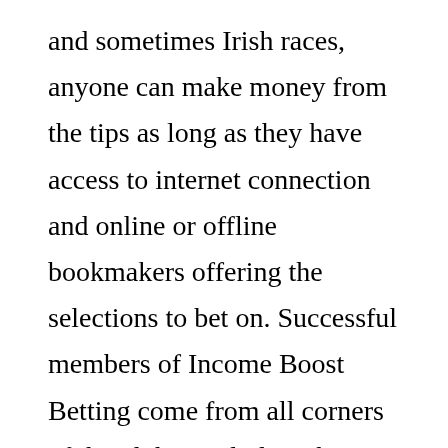and sometimes Irish races, anyone can make money from the tips as long as they have access to internet connection and online or offline bookmakers offering the selections to bet on. Successful members of Income Boost Betting come from all corners of the globe, including the USA, European countries, the Caribbean and South Africa.

Because this strategy does not require large stakes to get started with, it is accessible to anyone regardless of their betting experience